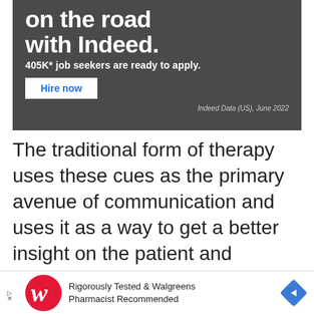[Figure (infographic): Indeed job hiring advertisement banner on dark grey background. Text reads 'on the road with Indeed. 405K* job seekers are ready to apply.' with a 'Hire now' button. Source: Indeed Data (US), June 2022.]
The traditional form of therapy uses these cues as the primary avenue of communication and uses it as a way to get a better insight on the patient and their behavior. Therapists...
[Figure (infographic): Walgreens advertisement banner. Text reads 'Rigorously Tested & Walgreens Pharmacist Recommended' with Walgreens cursive W logo and a blue diamond navigation icon.]